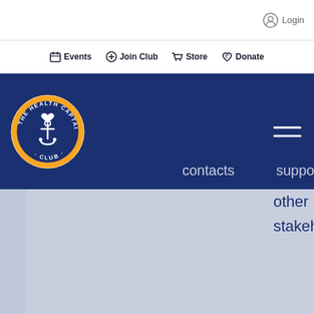Login
Events  Join Club  Store  Donate
[Figure (logo): The Health Captains Club circular logo with anchor and heart, orange and dark blue colors]
contacts
support by other stakehold...